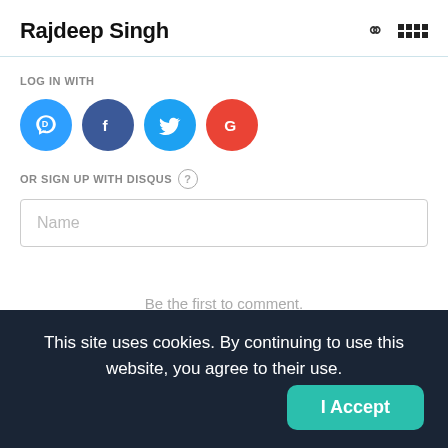Rajdeep Singh
LOG IN WITH
[Figure (illustration): Four social login buttons: Disqus (blue), Facebook (dark blue), Twitter (light blue), Google (red), each as colored circles with logos]
OR SIGN UP WITH DISQUS (?)
Name
Be the first to comment.
This site uses cookies. By continuing to use this website, you agree to their use.
I Accept